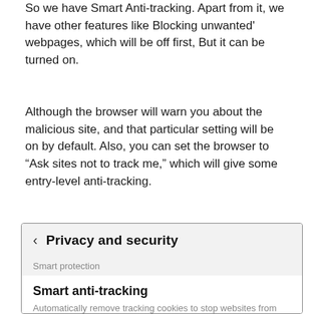So we have Smart Anti-tracking. Apart from it, we have other features like Blocking unwanted' webpages, which will be off first, But it can be turned on.
Although the browser will warn you about the malicious site, and that particular setting will be on by default. Also, you can set the browser to “Ask sites not to track me,” which will give some entry-level anti-tracking.
[Figure (screenshot): Screenshot of a mobile browser Privacy and security settings screen showing Smart protection section with Smart anti-tracking option listed as Off, and beginning of another option below.]